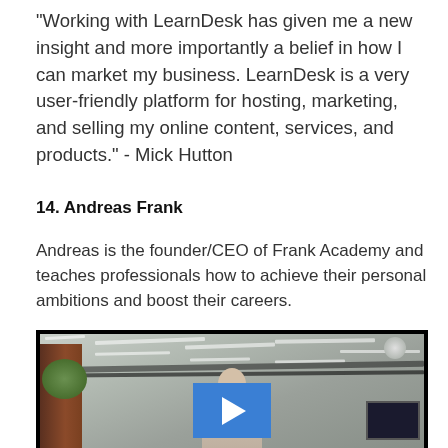"Working with LearnDesk has given me a new insight and more importantly a belief in how I can market my business. LearnDesk is a very user-friendly platform for hosting, marketing, and selling my online content, services, and products." - Mick Hutton
14. Andreas Frank
Andreas is the founder/CEO of Frank Academy and teaches professionals how to achieve their personal ambitions and boost their careers.
[Figure (screenshot): Video thumbnail showing a man in a modern office setting with a ceiling of light strips, a play button overlay in blue centered on the image]